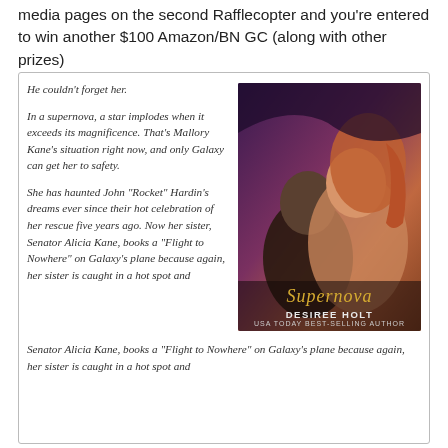media pages on the second Rafflecopter and you're entered to win another $100 Amazon/BN GC (along with other prizes)
He couldn't forget her.

In a supernova, a star implodes when it exceeds its magnificence. That's Mallory Kane's situation right now, and only Galaxy can get her to safety.

She has haunted John "Rocket" Hardin's dreams ever since their hot celebration of her rescue five years ago. Now her sister, Senator Alicia Kane, books a "Flight to Nowhere" on Galaxy's plane because again, her sister is caught in a hot spot and
[Figure (illustration): Book cover for 'Supernova' by Desiree Holt, USA Today Best-Selling Author. Shows a man and woman in romantic pose with sci-fi background and a galaxy logo badge in the top right corner.]